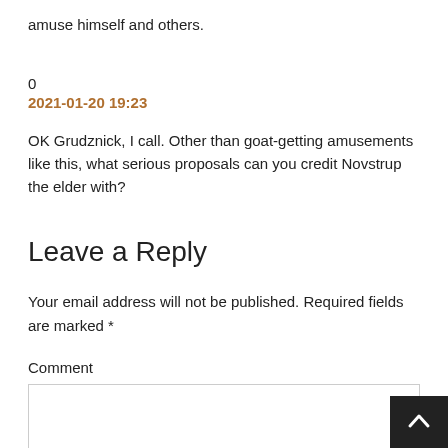amuse himself and others.
0
2021-01-20 19:23
OK Grudznick, I call. Other than goat-getting amusements like this, what serious proposals can you credit Novstrup the elder with?
Leave a Reply
Your email address will not be published. Required fields are marked *
Comment